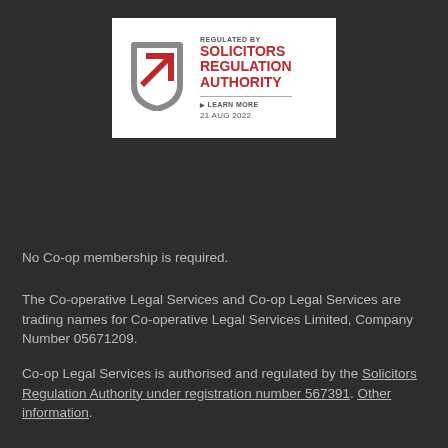[Figure (logo): Solicitors Regulation Authority badge — SRA shield icon with red arrow alongside text: REGULATED BY SOLICITORS REGULATION AUTHORITY, LEARN MORE, 21 AUG 2022]
No Co-op membership is required.
The Co-operative Legal Services and Co-op Legal Services are trading names for Co-operative Legal Services Limited, Company Number 05671209.
Co-op Legal Services is authorised and regulated by the Solicitors Regulation Authority under registration number 567391. Other information.